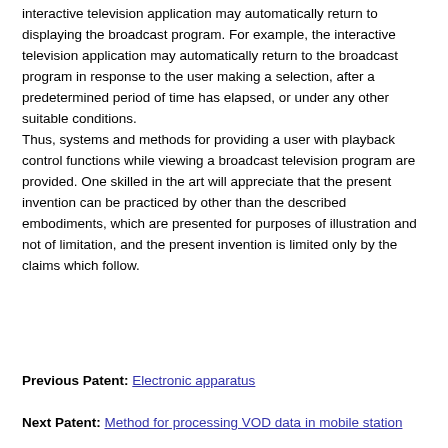interactive television application may automatically return to displaying the broadcast program. For example, the interactive television application may automatically return to the broadcast program in response to the user making a selection, after a predetermined period of time has elapsed, or under any other suitable conditions.
Thus, systems and methods for providing a user with playback control functions while viewing a broadcast television program are provided. One skilled in the art will appreciate that the present invention can be practiced by other than the described embodiments, which are presented for purposes of illustration and not of limitation, and the present invention is limited only by the claims which follow.
Previous Patent: Electronic apparatus
Next Patent: Method for processing VOD data in mobile station